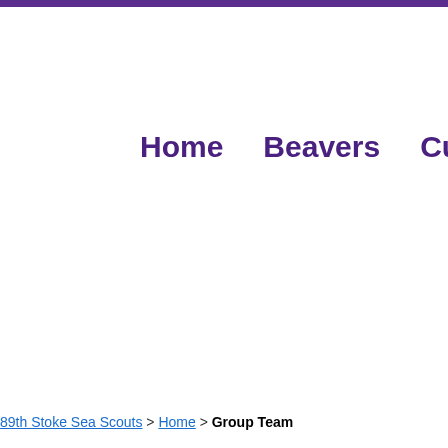Home   Beavers   Cubs   S
89th Stoke Sea Scouts > Home > Group Team